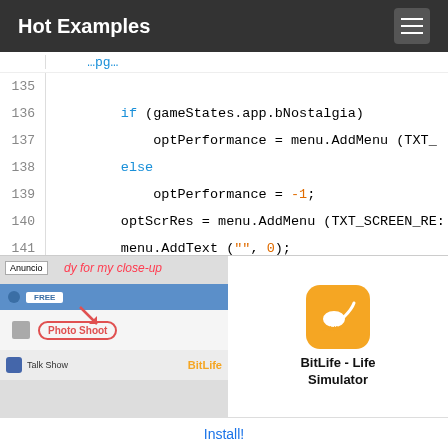Hot Examples
[Figure (screenshot): Code viewer screenshot showing lines 135-148 of source code with syntax highlighting. Keywords 'if' and 'else' in blue, numbers in orange. Code involves gameStates, optPerformance, optScrRes, menu.AddMenu, menu.AddText, optReorderPrim, optReorderSec.]
[Figure (screenshot): App advertisement overlay for BitLife - Life Simulator showing a game screenshot on the left with 'Anuncio' label and app icon with Install button on the right.]